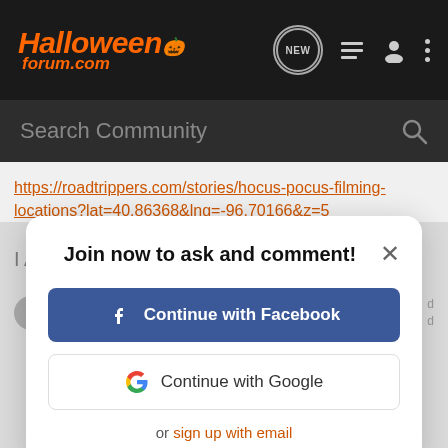HalloweenForum.com
Search Community
https://roadtrippers.com/stories/hocus-pocus-filming-locations?lat=40.86368&lng=-96.70166&z=5
Join now to ask and comment!
Continue with Facebook
Continue with Google
or sign up with email